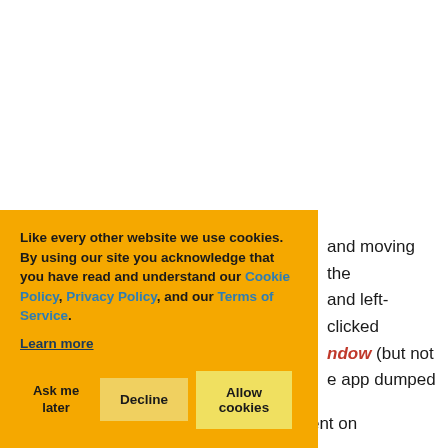[Figure (screenshot): Cookie consent banner with orange background overlaid on a webpage. Banner contains text about cookies and Cookie Policy, Privacy Policy, Terms of Service links, plus Ask me later, Decline, and Allow cookies buttons.]
and moving the and left-clicked ndow (but not e app dumped the logical tree of the ButtonOne element on